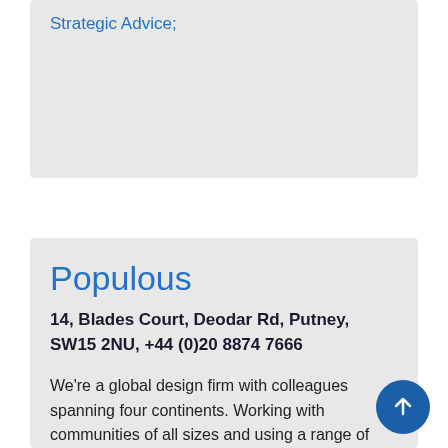Strategic Advice;
Populous
14, Blades Court, Deodar Rd, Putney, SW15 2NU, +44 (0)20 8874 7666
We're a global design firm with colleagues spanning four continents. Working with communities of all sizes and using a range of disciplines, we create experiences that amplify the joy felt in shared human moments.
Our unrivalled knowledge, both technical and